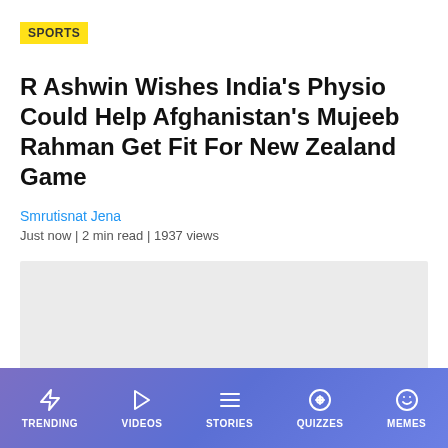SPORTS
R Ashwin Wishes India's Physio Could Help Afghanistan's Mujeeb Rahman Get Fit For New Zealand Game
Smrutisnat Jena
Just now | 2 min read | 1937 views
[Figure (photo): Light gray image placeholder rectangle]
TRENDING  VIDEOS  STORIES  QUIZZES  MEMES